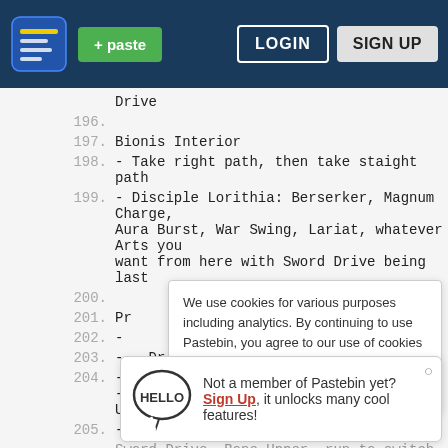+ paste  LOGIN  SIGN UP
Drive
196.
197. Bionis Interior
198. - Take right path, then take staight path
199. - Disciple Lorithia: Berserker, Magnum Charge, Aura Burst, War Swing, Lariat, whatever Arts you want from here with Sword Drive being last
200.
201. Pr
202. -
203. -   Dr
204. - Master Ohart: Berserker, Auto-Attack -> Bone  Up
205. -
Sword Drive, Bone Upper, run to switch
We use cookies for various purposes including analytics. By continuing to use Pastebin, you agree to our use of cookies as described in the Cookies Policy.  OK, I Understand
Not a member of Pastebin yet? Sign Up, it unlocks many cool features!